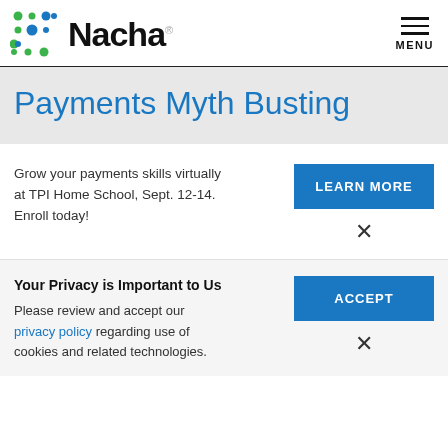Nacha — MENU
Payments Myth Busting
Grow your payments skills virtually at TPI Home School, Sept. 12-14. Enroll today!
LEARN MORE
Your Privacy is Important to Us
Please review and accept our privacy policy regarding use of cookies and related technologies.
ACCEPT